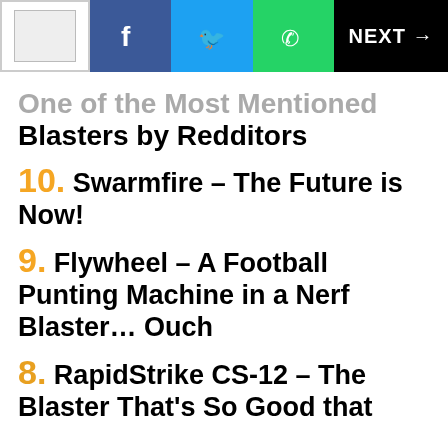One of the Most Mentioned Blasters by Redditors
One of the Most Mentioned Blasters by Redditors
10. Swarmfire – The Future is Now!
9. Flywheel – A Football Punting Machine in a Nerf Blaster... Ouch
8. RapidStrike CS-12 – The Blaster That's So Good that